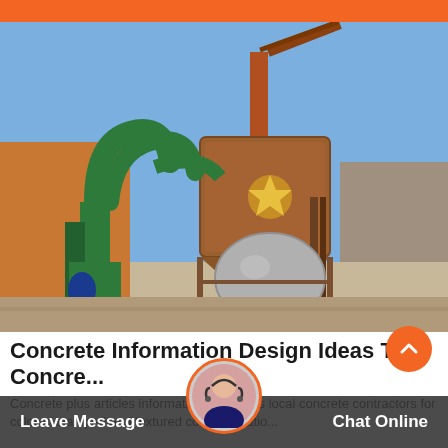[Figure (photo): Industrial grinding/milling plant equipment outdoors: green vertical roller mill with curved pipes on the left, tall rusted cylindrical silo/tower with conveyor on the right, spherical pressure vessel at center-right, set against a blue sky background.]
Concrete Information Design Ideas The Concre...
Concrete plus articles information ideas plus local concrete contractors for colored stamped and textured concrete patio...
Leave Message
Chat Online